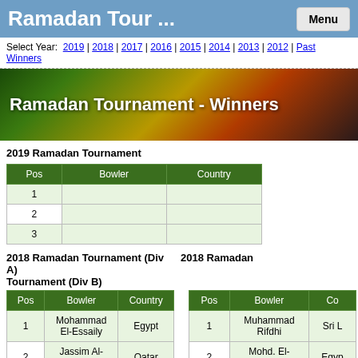Ramadan Tour ...
Select Year: 2019 | 2018 | 2017 | 2016 | 2015 | 2014 | 2013 | 2012 | Past Winners
[Figure (photo): Ramadan Tournament - Winners banner with dark green, gold, and orange gradient background]
2019 Ramadan Tournament
| Pos | Bowler | Country |
| --- | --- | --- |
| 1 |  |  |
| 2 |  |  |
| 3 |  |  |
2018 Ramadan Tournament (Div A)   2018 Ramadan Tournament (Div B)
| Pos | Bowler | Country |
| --- | --- | --- |
| 1 | Mohammad El-Essaily | Egypt |
| 2 | Jassim Al-Muraikhi | Qatar |
| 3 | Firas Nammour | Syria |
| Pos | Bowler | Co |
| --- | --- | --- |
| 1 | Muhammad Rifdhi | Sri L |
| 2 | Mohd. El-Essaily | Egyp |
| 3 | Ahmad Al-Malki | Qata |
2017 Ramadan Tournament (Div A)   2017 Ramadan